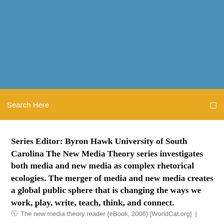[Figure (other): Blue header background banner at the top of the page]
Search Here
Series Editor: Byron Hawk University of South Carolina The New Media Theory series investigates both media and new media as complex rhetorical ecologies. The merger of media and new media creates a global public sphere that is changing the ways we work, play, write, teach, think, and connect.
The new media theory reader (eBook, 2006) [WorldCat.org]  |